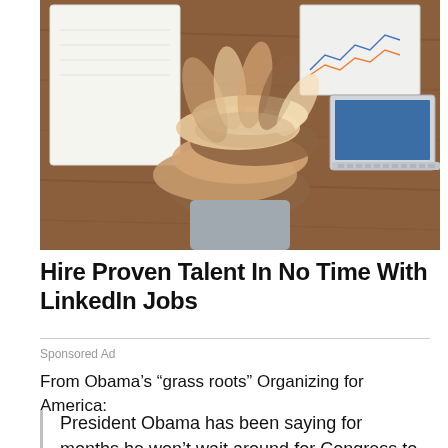[Figure (photo): Multiple hands stacked together on top of a wooden table, with notebooks, papers with charts, and a laptop visible in the background. A teamwork/collaboration stock photo.]
Hire Proven Talent In No Time With LinkedIn Jobs
Sponsored Ad
From Obama’s “grass roots” Organizing for America:
President Obama has been saying for months he won’t wait around for Congress to get middle-class families and working Americans back on their feet. He’ll work with Congress when he can, but if they refuse to act — he will